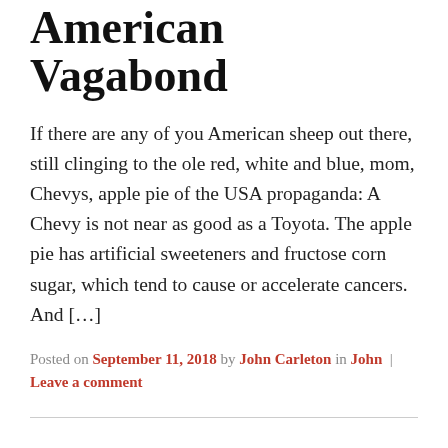American Vagabond
If there are any of you American sheep out there, still clinging to the ole red, white and blue, mom, Chevys, apple pie of the USA propaganda: A Chevy is not near as good as a Toyota. The apple pie has artificial sweeteners and fructose corn sugar, which tend to cause or accelerate cancers. And […]
Posted on September 11, 2018 by John Carleton in John | Leave a comment
Staged Filming of False Flag 'Chemical Attacks'